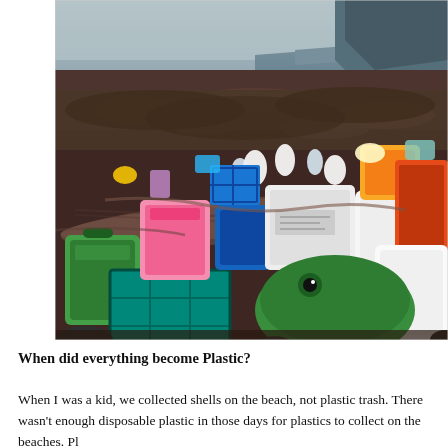[Figure (photo): A beach covered with scattered plastic waste including green crates, white containers, pink and blue jugs, orange panels, and other colorful plastic debris, with rocky coastline and sea visible in the background.]
When did everything become Plastic?
When I was a kid, we collected shells on the beach, not plastic trash. There wasn't enough disposable plastic in those days for plastics to collect on the beaches. Pl...